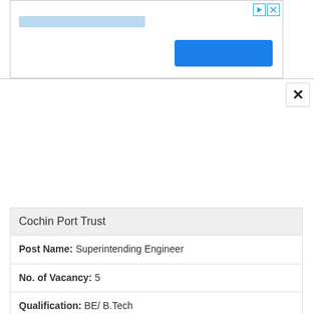[Figure (screenshot): Ad banner with play/close icons, a light blue input bar, and a blue button]
×
Cochin Port Trust
Post Name: Superintending Engineer
No. of Vacancy: 5
Qualification: BE/ B.Tech